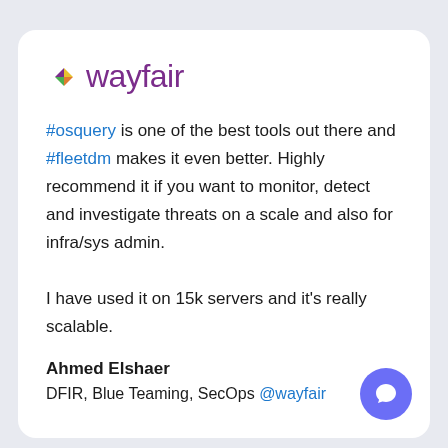[Figure (logo): Wayfair logo with colored diamond icon and purple wordmark]
#osquery is one of the best tools out there and #fleetdm makes it even better. Highly recommend it if you want to monitor, detect and investigate threats on a scale and also for infra/sys admin.

I have used it on 15k servers and it's really scalable.
Ahmed Elshaer
DFIR, Blue Teaming, SecOps @wayfair